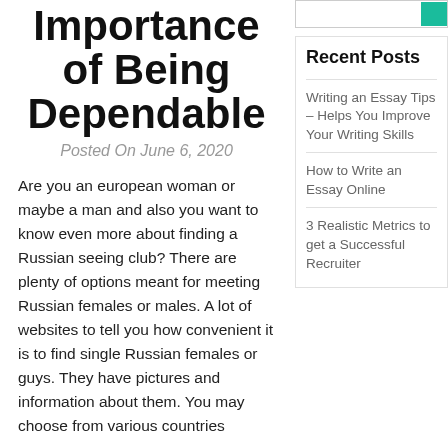Importance of Being Dependable
Posted On June 6, 2020
Are you an european woman or maybe a man and also you want to know even more about finding a Russian seeing club? There are plenty of options meant for meeting Russian females or males. A lot of websites to tell you how convenient it is to find single Russian females or guys. They have pictures and information about them. You may choose from various countries
Recent Posts
Writing an Essay Tips – Helps You Improve Your Writing Skills
How to Write an Essay Online
3 Realistic Metrics to get a Successful Recruiter